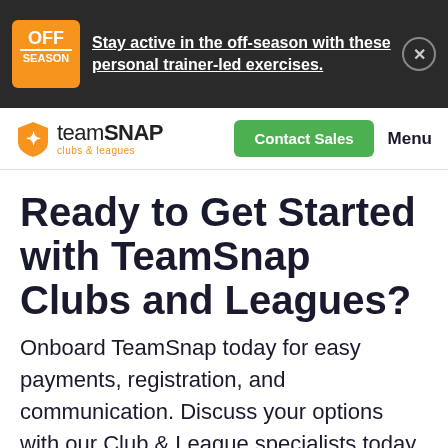[Figure (screenshot): Dark banner with OFF SEASON logo and text link about staying active in the off-season with trainer-led exercises, with a close button]
TeamSnap clubs & leagues — Contact Sales — Menu
Ready to Get Started with TeamSnap Clubs and Leagues?
Onboard TeamSnap today for easy payments, registration, and communication. Discuss your options with our Club & League specialists today.
Talk to us now   Sign up for a demo